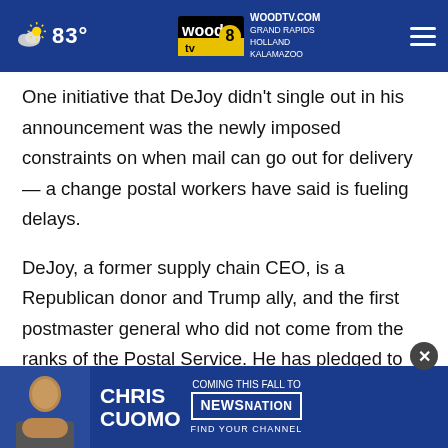83° | WOODTV.COM GRAND RAPIDS HOLLAND KALAMAZOO | wood 8 tv
One initiative that DeJoy didn't single out in his announcement was the newly imposed constraints on when mail can go out for delivery — a change postal workers have said is fueling delays.
DeJoy, a former supply chain CEO, is a Republican donor and Trump ally, and the first postmaster general who did not come from the ranks of the Postal Service. He has pledged to revamp the Postal Service, which has struggled financially ever since 2006, when it was saddled with a costly new requirement to pre-fund its employees retire… health…
[Figure (screenshot): Advertisement banner: Chris Cuomo – Coming This Fall to NewsNation. Find Your Channel.]